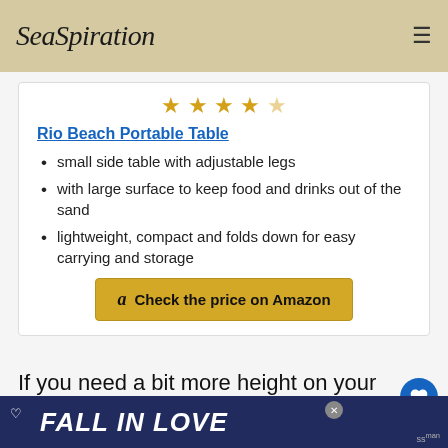SeaSpiration
Rio Beach Portable Table
small side table with adjustable legs
with large surface to keep food and drinks out of the sand
lightweight, compact and folds down for easy carrying and storage
Check the price on Amazon
If you need a bit more height on your beach camp setup, this personal beach table can easily be changed up by flipping the legs. It